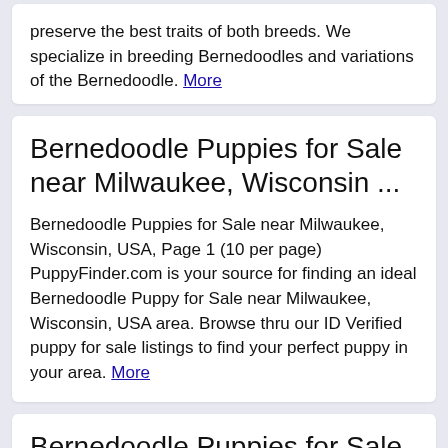preserve the best traits of both breeds. We specialize in breeding Bernedoodles and variations of the Bernedoodle. More
Bernedoodle Puppies for Sale near Milwaukee, Wisconsin ...
Bernedoodle Puppies for Sale near Milwaukee, Wisconsin, USA, Page 1 (10 per page) PuppyFinder.com is your source for finding an ideal Bernedoodle Puppy for Sale near Milwaukee, Wisconsin, USA area. Browse thru our ID Verified puppy for sale listings to find your perfect puppy in your area. More
Bernedoodle Puppies for Sale in Wisconsin ...